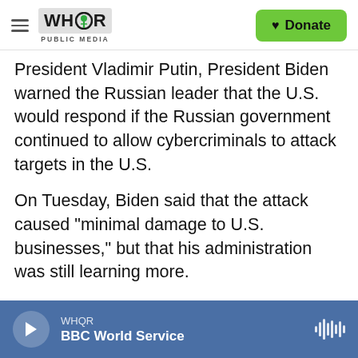WHQR PUBLIC MEDIA | Donate
President Vladimir Putin, President Biden warned the Russian leader that the U.S. would respond if the Russian government continued to allow cybercriminals to attack targets in the U.S.
On Tuesday, Biden said that the attack caused "minimal damage to U.S. businesses," but that his administration was still learning more.
Alperovitch talked with Morning Edition about how the attack worked, why the attackers chose Kaseya, and how the U.S. should respond to the Russian government allowing cybercriminals to operate. Here are excerpts, edited for length and
WHQR | BBC World Service